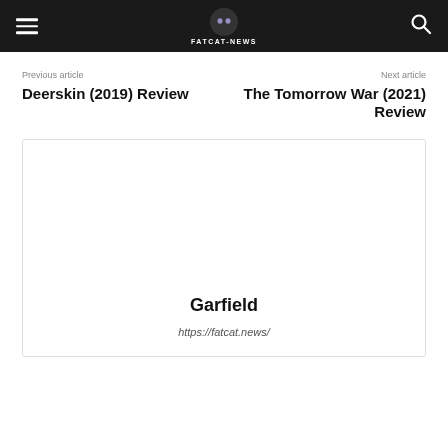FATCAT-NEWS
Previous article
Deerskin (2019) Review
Next article
The Tomorrow War (2021) Review
Garfield
https://fatcat.news/